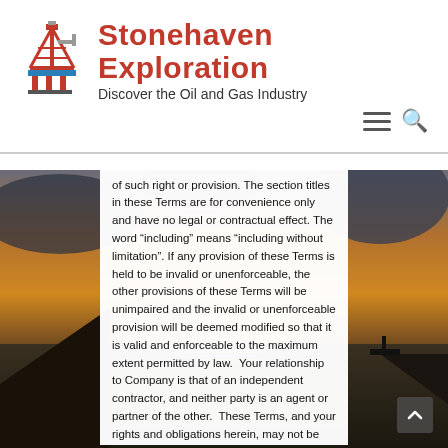[Figure (logo): Stonehaven Exploration logo with oil rig icon in red/blue pixel art style]
of such right or provision. The section titles in these Terms are for convenience only and have no legal or contractual effect. The word “including” means “including without limitation”. If any provision of these Terms is held to be invalid or unenforceable, the other provisions of these Terms will be unimpaired and the invalid or unenforceable provision will be deemed modified so that it is valid and enforceable to the maximum extent permitted by law. Your relationship to Company is that of an independent contractor, and neither party is an agent or partner of the other. These Terms, and your rights and obligations herein, may not be assigned, subcontracted, delegated, or otherwise transferred by you without Company’s prior written consent, and any attempted assignment, subcontract,